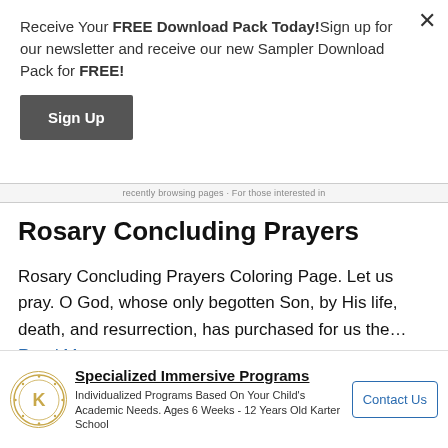Receive Your FREE Download Pack Today!Sign up for our newsletter and receive our new Sampler Download Pack for FREE!
Sign Up
Rosary Concluding Prayers
Rosary Concluding Prayers Coloring Page. Let us pray. O God, whose only begotten Son, by His life, death, and resurrection, has purchased for us the… Read More »
[Figure (other): Advertisement banner for Karter School: Specialized Immersive Programs. Individualized Programs Based On Your Child's Academic Needs. Ages 6 Weeks - 12 Years Old Karter School. Contact Us button.]